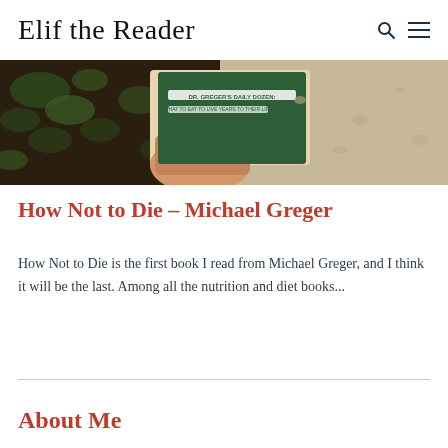Elif the Reader
[Figure (photo): A hand holding a book with a green cover showing text related to Dr. Greger's Daily Dozen, against a background of soil/plants and sandy ground.]
How Not to Die – Michael Greger
How Not to Die is the first book I read from Michael Greger, and I think it will be the last. Among all the nutrition and diet books...
About Me